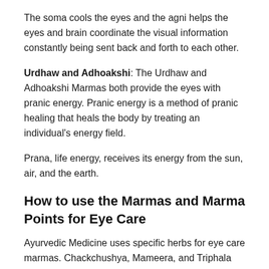The soma cools the eyes and the agni helps the eyes and brain coordinate the visual information constantly being sent back and forth to each other.
Urdhaw and Adhoakshi: The Urdhaw and Adhoakshi Marmas both provide the eyes with pranic energy. Pranic energy is a method of pranic healing that heals the body by treating an individual's energy field.
Prana, life energy, receives its energy from the sun, air, and the earth.
How to use the Marmas and Marma Points for Eye Care
Ayurvedic Medicine uses specific herbs for eye care marmas. Chackchushya, Mameera, and Triphala are excellent for eye care. Chackchushya is used to increase the health and